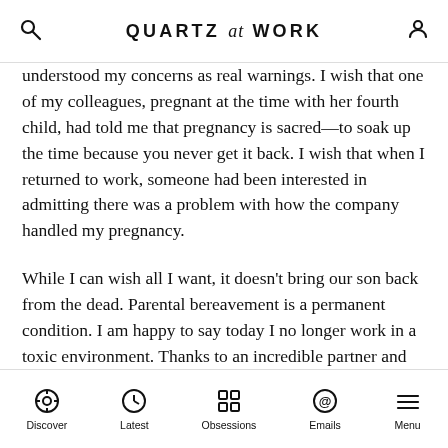QUARTZ at WORK
understood my concerns as real warnings. I wish that one of my colleagues, pregnant at the time with her fourth child, had told me that pregnancy is sacred—to soak up the time because you never get it back. I wish that when I returned to work, someone had been interested in admitting there was a problem with how the company handled my pregnancy.
While I can wish all I want, it doesn't bring our son back from the dead. Parental bereavement is a permanent condition. I am happy to say today I no longer work in a toxic environment. Thanks to an incredible partner and support from friends and family, when we got pregnant again I had already transitioned to working for myself.
Discover  Latest  Obsessions  Emails  Menu